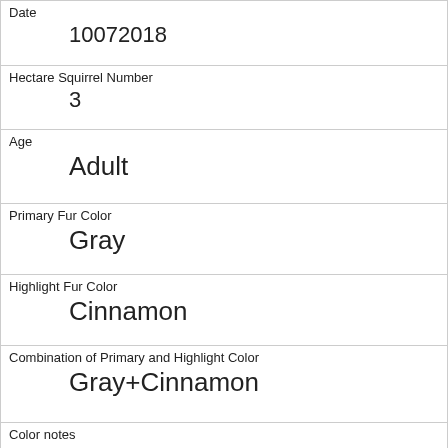| Date | 10072018 |
| Hectare Squirrel Number | 3 |
| Age | Adult |
| Primary Fur Color | Gray |
| Highlight Fur Color | Cinnamon |
| Combination of Primary and Highlight Color | Gray+Cinnamon |
| Color notes |  |
| Location | Above Ground |
| Above Ground Sighter Measurement | 15 |
| Specific Location |  |